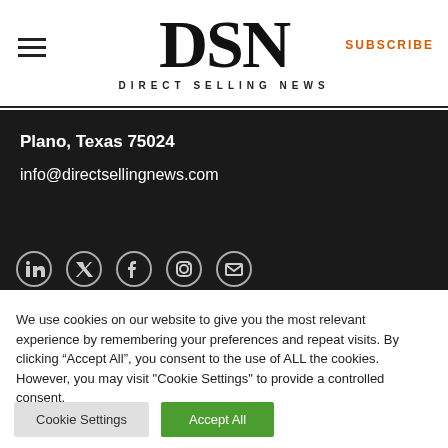[Figure (logo): DSN Direct Selling News logo with hamburger menu on left and SUBSCRIBE link in orange on right]
Plano, Texas 75024
info@directsellingnews.com
[Figure (illustration): Row of social media icons: LinkedIn, Twitter/X, Facebook, Instagram, Email]
We use cookies on our website to give you the most relevant experience by remembering your preferences and repeat visits. By clicking “Accept All”, you consent to the use of ALL the cookies. However, you may visit "Cookie Settings" to provide a controlled consent.
Cookie Settings
Accept All